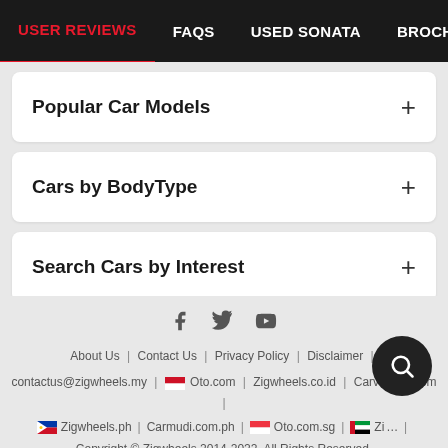USER REVIEWS | FAQs | USED SONATA | BROCHURE | DEAL
Popular Car Models
Cars by BodyType
Search Cars by Interest
About Us | Contact Us | Privacy Policy | Disclaimer | contactus@zigwheels.my | Oto.com | Zigwheels.co.id | Carvaga...com | Zigwheels.ph | Carmudi.com.ph | Oto.com.sg | Zi... | Copyright © Zigwheels 2014-2022. All Rights Reserved.